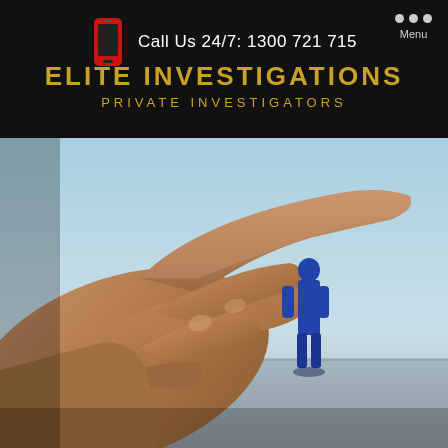Call Us 24/7: 1300 721 715
ELITE INVESTIGATIONS
PRIVATE INVESTIGATORS
[Figure (photo): A large human hand pointing with index finger toward a small blue silhouette of a standing person, against a light blue sky background — surveillance/investigation concept image]